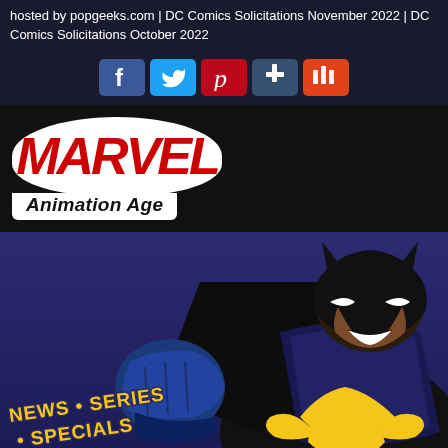hosted by popgeeks.com | DC Comics Solicitations November 2022 | DC Comics Solicitations October 2022
[Figure (infographic): Social media icons row: Facebook (blue), Twitter (light blue), Pinterest (red), Tumblr (dark blue), Mix (red)]
[Figure (logo): Marvel Animation Age logo — red MARVEL text on white oval bubble with 'Animation Age' below in italic black text]
[Figure (illustration): Animated-style Batman character in dark blue/black suit with yellow symbol, fist raised, against dark purple background. Text at bottom-left reads 'News • Series • Specials' in yellow outlined letters.]